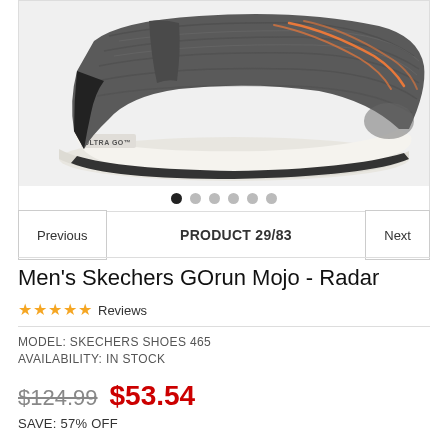[Figure (photo): Gray Skechers GOrun Mojo - Radar athletic shoe viewed from the side, showing knit upper with orange accent lines, black trim, and white Ultra Go midsole. Image carousel with 6 navigation dots below, first dot active.]
Previous    PRODUCT 29/83    Next
Men's Skechers GOrun Mojo - Radar
★★★★★ Reviews
MODEL: SKECHERS SHOES 465
AVAILABILITY: IN STOCK
$124.99  $53.54
SAVE: 57% OFF